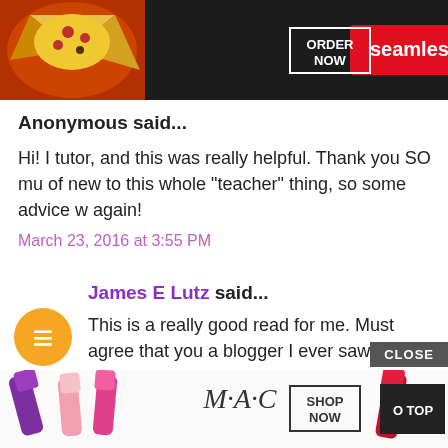[Figure (screenshot): Seamless food delivery advertisement banner with pizza image, seamless logo button, and ORDER NOW button on dark background]
Anonymous said...
Hi! I tutor, and this was really helpful. Thank you SO mu of new to this whole "teacher" thing, so some advice w again!
March 23, 2016 at 3:55 PM
James E Lutz said...
This is a really good read for me. Must agree that you a blogger I ever saw.office furniture for sale in Jacksonvil
April 26, 2017 at 12:11 AM
[Figure (screenshot): MAC cosmetics advertisement with lipsticks, MAC logo, SHOP NOW button, and O TOP button. CLOSE button above.]